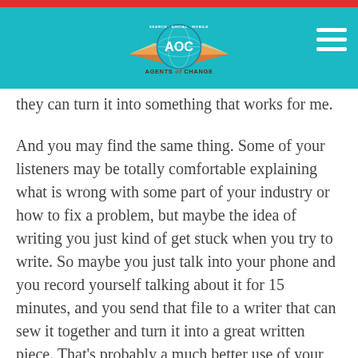Agents of Change — Search · Social · Mobile
they can turn it into something that works for me.
And you may find the same thing. Some of your listeners may be totally comfortable explaining what is wrong with some part of your industry or how to fix a problem, but maybe the idea of writing you just kind of get stuck when you try to write. So maybe you just talk into your phone and you record yourself talking about it for 15 minutes, and you send that file to a writer that can sew it together and turn it into a great written piece. That's probably a much better use of your time to lean into that content language that's most familiar, and let someone else do the polishing to turn it into the format you need it to be.